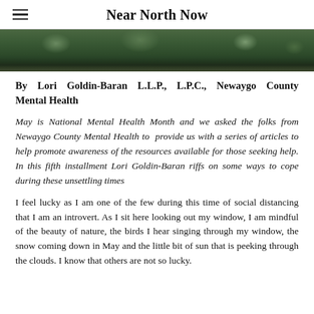Near North Now
[Figure (photo): A landscape photo showing dense green forest/tree canopy at the top of the page.]
By Lori Goldin-Baran L.L.P., L.P.C., Newaygo County Mental Health
May is National Mental Health Month and we asked the folks from Newaygo County Mental Health to provide us with a series of articles to help promote awareness of the resources available for those seeking help. In this fifth installment Lori Goldin-Baran riffs on some ways to cope during these unsettling times
I feel lucky as I am one of the few during this time of social distancing that I am an introvert. As I sit here looking out my window, I am mindful of the beauty of nature, the birds I hear singing through my window, the snow coming down in May and the little bit of sun that is peeking through the clouds. I know that others are not so lucky.